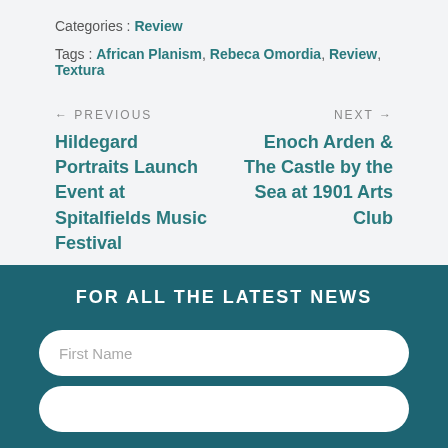Categories : Review
Tags : African Planism, Rebeca Omordia, Review, Textura
← PREVIOUS
Hildegard Portraits Launch Event at Spitalfields Music Festival
NEXT →
Enoch Arden & The Castle by the Sea at 1901 Arts Club
FOR ALL THE LATEST NEWS
First Name